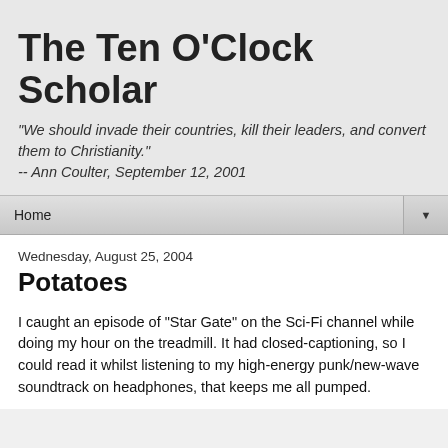The Ten O'Clock Scholar
"We should invade their countries, kill their leaders, and convert them to Christianity."
-- Ann Coulter, September 12, 2001
Home
Wednesday, August 25, 2004
Potatoes
I caught an episode of "Star Gate" on the Sci-Fi channel while doing my hour on the treadmill. It had closed-captioning, so I could read it whilst listening to my high-energy punk/new-wave soundtrack on headphones, that keeps me all pumped.